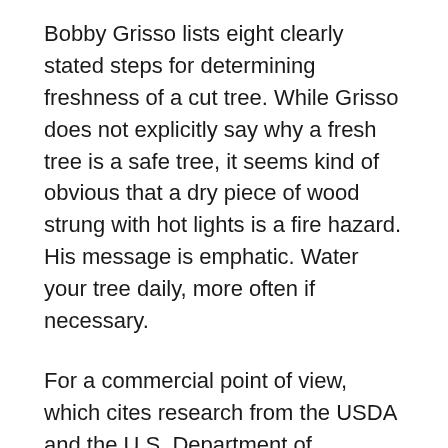Bobby Grisso lists eight clearly stated steps for determining freshness of a cut tree. While Grisso does not explicitly say why a fresh tree is a safe tree, it seems kind of obvious that a dry piece of wood strung with hot lights is a fire hazard. His message is emphatic. Water your tree daily, more often if necessary.
For a commercial point of view, which cites research from the USDA and the U.S. Department of Commerce as well as academic and scientific institutions, check the National Christmas Tree Association (NCTA) at http://www.christmastree.org/home.cfm.